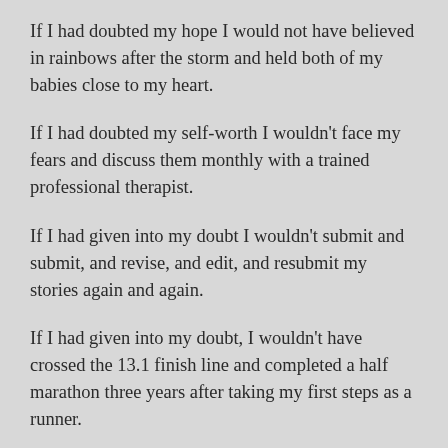If I had doubted my hope I would not have believed in rainbows after the storm and held both of my babies close to my heart.
If I had doubted my self-worth I wouldn't face my fears and discuss them monthly with a trained professional therapist.
If I had given into my doubt I wouldn't submit and submit, and revise, and edit, and resubmit my stories again and again.
If I had given into my doubt, I wouldn't have crossed the 13.1 finish line and completed a half marathon three years after taking my first steps as a runner.
If I had given into doubt, I wouldn't have made countless friends and spent hours at a dance studio I